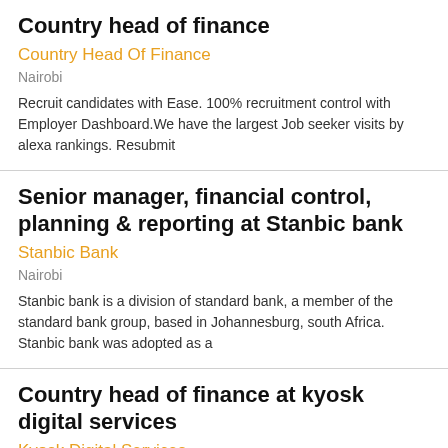Country head of finance
Country Head Of Finance
Nairobi
Recruit candidates with Ease. 100% recruitment control with Employer Dashboard.We have the largest Job seeker visits by alexa rankings. Resubmit
Senior manager, financial control, planning & reporting at Stanbic bank
Stanbic Bank
Nairobi
Stanbic bank is a division of standard bank, a member of the standard bank group, based in Johannesburg, south Africa. Stanbic bank was adopted as a
Country head of finance at kyosk digital services
Kyosk Digital Services
Nairobi
A kiosk is an informal convenience store selling everyday household items. Known locally by their vernacular names e.g. Duka in Kenya, Spaza in South
Finance business partner at kyosk digital services